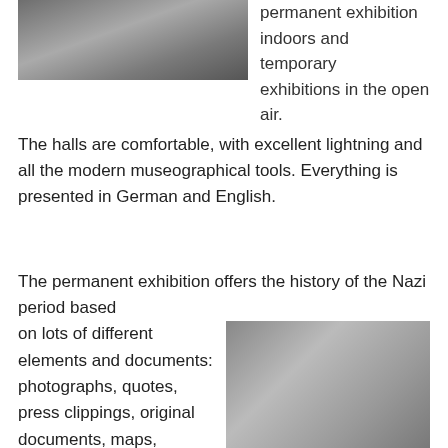[Figure (photo): Interior of a museum or conference room showing white chairs and dark tables from above/side angle]
permanent exhibition indoors and temporary exhibitions in the open air. The halls are comfortable, with excellent lightning and all the modern museographical tools. Everything is presented in German and English.
The permanent exhibition offers the history of the Nazi period based on lots of different elements and documents: photographs, quotes, press clippings, original documents, maps, organization and flow charts, detailed texts
[Figure (photo): Interior of a large modern museum exhibition hall with track lighting, colorful display panels, and visitors walking around]